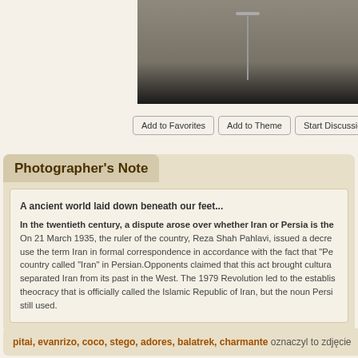[Figure (photo): Partial view of a photograph showing an interior scene, cropped at top]
Add to Favorites | Add to Theme | Start Discussion | Po-
Photographer's Note
A ancient world laid down beneath our feet...

In the twentieth century, a dispute arose over whether Iran or Persia is the correct name. On 21 March 1935, the ruler of the country, Reza Shah Pahlavi, issued a decree asking foreign delegates to use the term Iran in formal correspondence in accordance with the fact that "Pe..." country called "Iran" in Persian.Opponents claimed that this act brought cultural...separated Iran from its past in the West. The 1979 Revolution led to the establishment of a theocracy that is officially called the Islamic Republic of Iran, but the noun Persi... still used.
pitai, evanrizo, coco, stego, adores, balatrek, charmante oznaczyl to zdjęcie